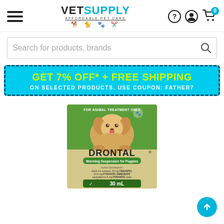[Figure (screenshot): VetSupply website header with hamburger menu, VetSupply logo with 'Affordable Pet Care' tagline and pet icons, and navigation icons for help, account, and cart showing 0 items.]
[Figure (screenshot): Search bar with placeholder text 'Search for products, brands' and a search icon on the right.]
GET 7% OFF* + FREE SHIPPING
ON SELECTED PRODUCTS. USE COUPON: FATHER7
[Figure (photo): Drontal Worming Suspension for Puppies product box, 30 mL. Shows a puppy image on green background, with active constituents listed: Each mL contains 50 mg FEBANTEL, 14.4 mg PYRANTEL EMBONATE equivalent to 5 mg PYRANTEL base. For the control of roundworms, hookworms and whipworms in puppies and small dogs.]